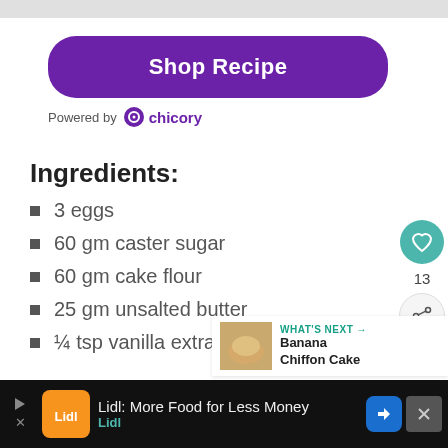[Figure (other): Shop Recipe button - purple rounded rectangle with white bold text]
Powered by chicory
Ingredients:
3 eggs
60 gm caster sugar
60 gm cake flour
25 gm unsalted butter
¼ tsp vanilla extract
[Figure (other): Lidl advertisement bar at bottom: 'Lidl: More Food for Less Money' with Lidl logo]
WHAT'S NEXT → Banana Chiffon Cake